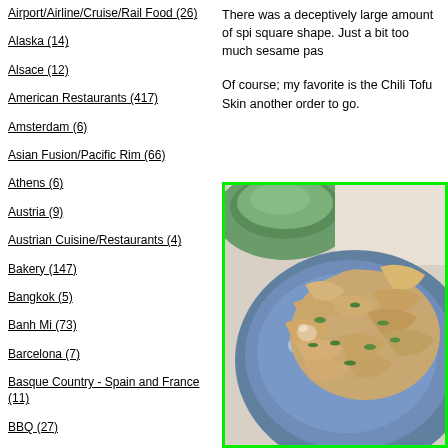Airport/Airline/Cruise/Rail Food (26)
Alaska (14)
Alsace (12)
American Restaurants (417)
Amsterdam (6)
Asian Fusion/Pacific Rim (66)
Athens (6)
Austria (9)
Austrian Cuisine/Restaurants (4)
Bakery (147)
Bangkok (5)
Banh Mi (73)
Barcelona (7)
Basque Country - Spain and France (11)
BBQ (27)
Beer (105)
Beijing (9)
Belgian Cuisine and Restaurants (18)
There was a deceptively large amount of spi square shape. Just a bit too much sesame pas
Of course; my favorite is the Chili Tofu Skin another order to go.
[Figure (photo): Photo of a blue plate with chili tofu skin dish garnished with green herbs, with a green bowl visible in the background]